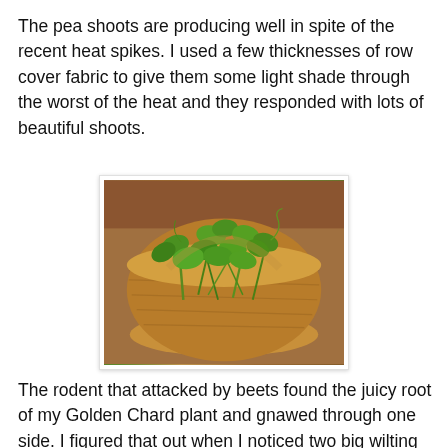The pea shoots are producing well in spite of the recent heat spikes. I used a few thicknesses of row cover fabric to give them some light shade through the worst of the heat and they responded with lots of beautiful shoots.
[Figure (photo): A wicker basket filled with fresh green pea shoots and leaves, photographed from above on a terracotta/stone surface.]
The rodent that attacked by beets found the juicy root of my Golden Chard plant and gnawed through one side. I figured that out when I noticed two big wilting leaves, but fortunately I was able to harvest them before they were too far gone. (There's a few rat traps guarding the plant now. I hope they